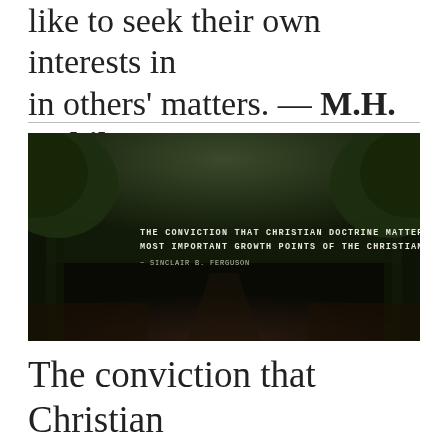like to seek their own interests in in others' matters. — M.H. Rakib
[Figure (photo): Dark tree-lined road at dusk with a quote overlay: 'The conviction that Christian doctrine matters for Christian living is one of the most important growth points of the Christian life.' attributed to Sinclair B. Ferguson, with wisefamousquotes.com watermark]
The conviction that Christian doctrine matters for Christian living is one of the most important